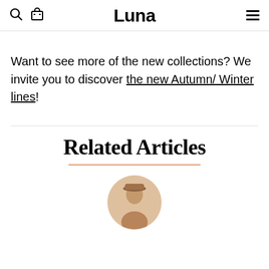Luna
Want to see more of the new collections? We invite you to discover the new Autumn/ Winter lines!
Related Articles
[Figure (photo): Circular cropped photo of a person wearing a hat, partially visible at bottom of page]